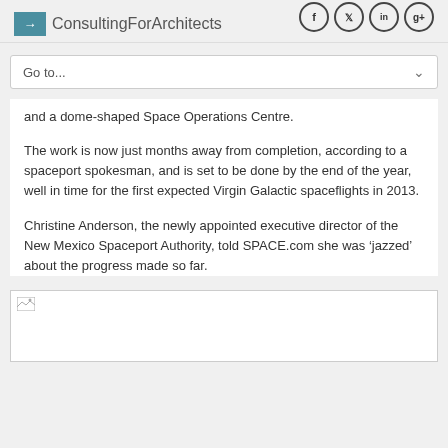ConsultingForArchitects
and a dome-shaped Space Operations Centre.
The work is now just months away from completion, according to a spaceport spokesman, and is set to be done by the end of the year, well in time for the first expected Virgin Galactic spaceflights in 2013.
Christine Anderson, the newly appointed executive director of the New Mexico Spaceport Authority, told SPACE.com she was ‘jazzed’ about the progress made so far.
[Figure (photo): Image placeholder (broken image icon) - appears to be a photo related to the spaceport article]